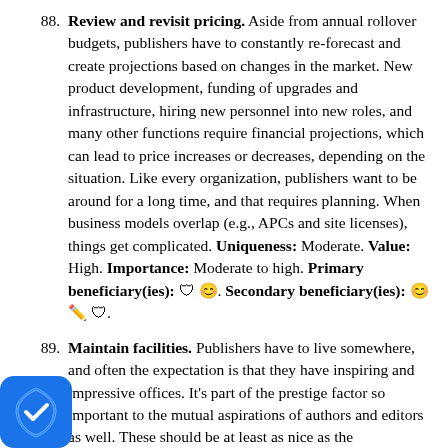88. Review and revisit pricing. Aside from annual rollover budgets, publishers have to constantly re-forecast and create projections based on changes in the market. New product development, funding of upgrades and infrastructure, hiring new personnel into new roles, and many other functions require financial projections, which can lead to price increases or decreases, depending on the situation. Like every organization, publishers want to be around for a long time, and that requires planning. When business models overlap (e.g., APCs and site licenses), things get complicated. Uniqueness: Moderate. Value: High. Importance: Moderate to high. Primary beneficiary(ies): 🛡 😊. Secondary beneficiary(ies): 😊 ✏ 🛡.
89. Maintain facilities. Publishers have to live somewhere, and often the expectation is that they have inspiring and impressive offices. It's part of the prestige factor so important to the mutual aspirations of authors and editors as well. These should be at least as nice as the
[Figure (illustration): Blue shield icon with white checkmark, bottom-left corner]